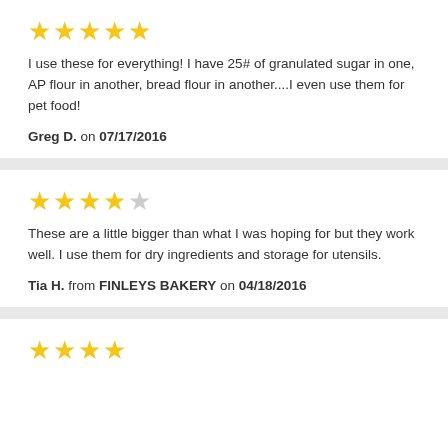[Figure (other): 5 filled gold stars rating]
I use these for everything! I have 25# of granulated sugar in one, AP flour in another, bread flour in another....I even use them for pet food!
Greg D. on 07/17/2016
[Figure (other): 4 filled gold stars and 1 empty star rating]
These are a little bigger than what I was hoping for but they work well. I use them for dry ingredients and storage for utensils.
Tia H. from FINLEYS BAKERY on 04/18/2016
[Figure (other): 4 filled gold stars (partial view)]